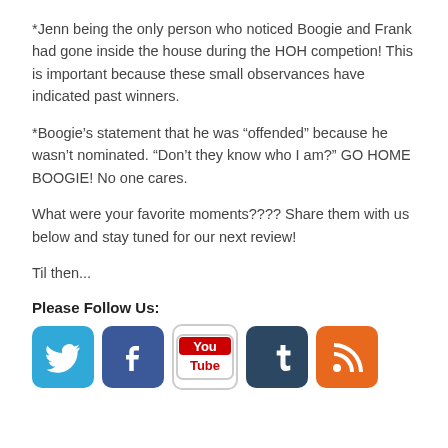*Jenn being the only person who noticed Boogie and Frank had gone inside the house during the HOH competion!  This is important because these small observances have indicated past winners.
*Boogie’s statement that he was “offended” because he wasn’t nominated.  “Don’t they know who I am?” GO HOME BOOGIE! No one cares.
What were your favorite moments???? Share them with us below and stay tuned for our next review!
Til then...
Please Follow Us:
[Figure (infographic): Row of five social media icons: Twitter (blue bird), Facebook (blue f), YouTube (red and white logo), Tumblr (dark blue t), RSS (orange feed icon)]